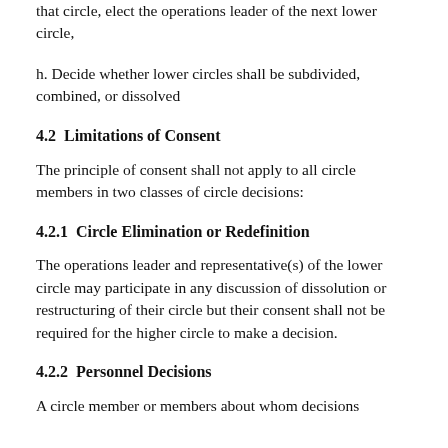that circle, elect the operations leader of the next lower circle,
h. Decide whether lower circles shall be subdivided, combined, or dissolved
4.2  Limitations of Consent
The principle of consent shall not apply to all circle members in two classes of circle decisions:
4.2.1  Circle Elimination or Redefinition
The operations leader and representative(s) of the lower circle may participate in any discussion of dissolution or restructuring of their circle but their consent shall not be required for the higher circle to make a decision.
4.2.2  Personnel Decisions
A circle member or members about whom decisions are being made may participate in any discussion